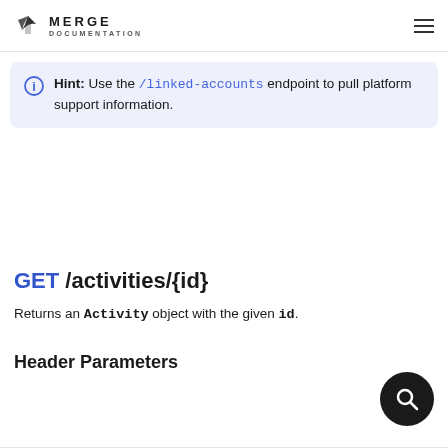MERGE DOCUMENTATION
Hint: Use the /linked-accounts endpoint to pull platform support information.
GET /activities/{id}
Returns an Activity object with the given id.
Header Parameters